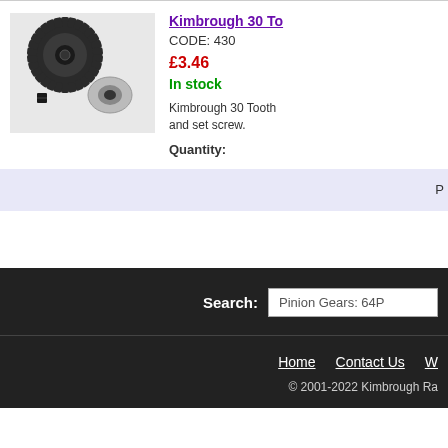[Figure (photo): Kimbrough 30 Tooth pinion gear with set screw and collar adapter, black gear with silver aluminum collar]
Kimbrough 30 To...
CODE: 430
£3.46
In stock
Kimbrough 30 Tooth ... and set screw.
Quantity:
Search:
Pinion Gears: 64P
Home   Contact Us   W...
© 2001-2022 Kimbrough Ra...